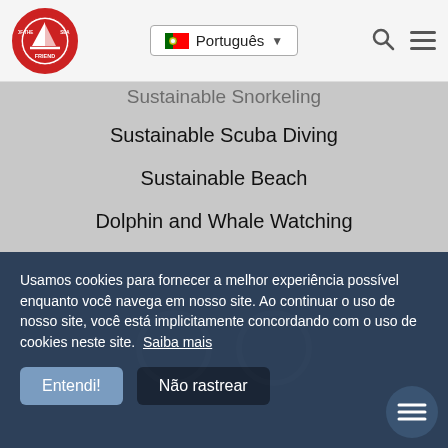Friend of the Sea — Português navigation bar
Sustainable Snorkeling (partially visible)
Sustainable Scuba Diving
Sustainable Beach
Dolphin and Whale Watching
Whale Shark Watching
Manta Watching
Sea Turtle Watching
Usamos cookies para fornecer a melhor experiência possível enquanto você navega em nosso site. Ao continuar o uso de nosso site, você está implicitamente concordando com o uso de cookies neste site. Saiba mais
Entendi! | Não rastrear